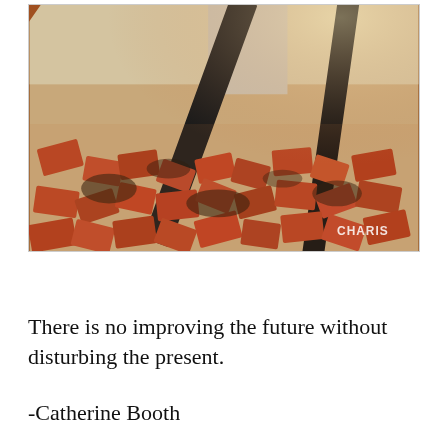[Figure (photo): Photograph of collapsed brick rubble and debris, including fallen structural beams and scattered red bricks. A watermark reading 'CHARIS' appears in the lower right corner.]
There is no improving the future without disturbing the present.
-Catherine Booth